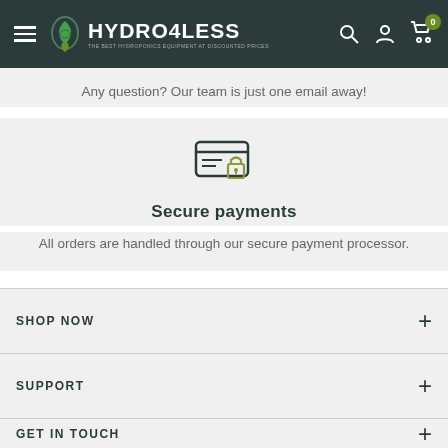HYDRO4LESS — THE BEST HYDROPONICS EQUIPMENT AT DISCOUNTED PRICES
Any question? Our team is just one email away!
[Figure (illustration): Secure payment icon: credit card with a padlock on it, dark teal outline with olive/green lock]
Secure payments
All orders are handled through our secure payment processor.
SHOP NOW
SUPPORT
GET IN TOUCH